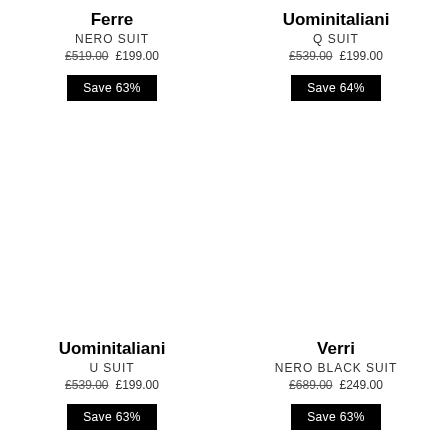Ferre
NERO SUIT
£519.00  £199.00
Save 63%
Uominitaliani
Q SUIT
£539.00  £199.00
Save 64%
Uominitaliani
U SUIT
£539.00  £199.00
Save 63%
Verri
NERO BLACK SUIT
£689.00  £249.00
Save 63%